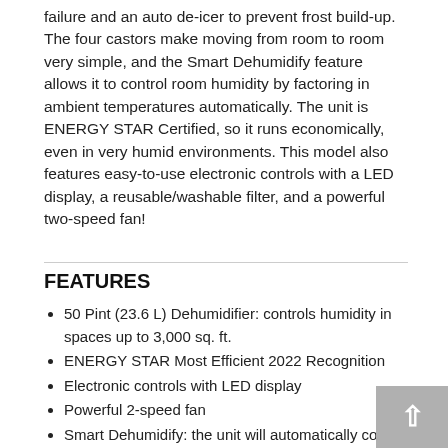failure and an auto de-icer to prevent frost build-up. The four castors make moving from room to room very simple, and the Smart Dehumidify feature allows it to control room humidity by factoring in ambient temperatures automatically. The unit is ENERGY STAR Certified, so it runs economically, even in very humid environments. This model also features easy-to-use electronic controls with a LED display, a reusable/washable filter, and a powerful two-speed fan!
FEATURES
50 Pint (23.6 L) Dehumidifier: controls humidity in spaces up to 3,000 sq. ft.
ENERGY STAR Most Efficient 2022 Recognition
Electronic controls with LED display
Powerful 2-speed fan
Smart Dehumidify: the unit will automatically control